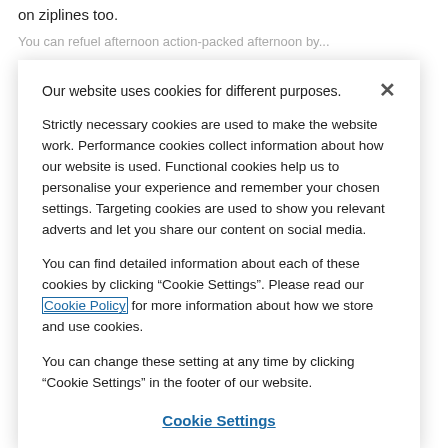on ziplines too.
You can refuel afternoon action-packed afternoon by...
Our website uses cookies for different purposes.
Strictly necessary cookies are used to make the website work. Performance cookies collect information about how our website is used. Functional cookies help us to personalise your experience and remember your chosen settings. Targeting cookies are used to show you relevant adverts and let you share our content on social media.
You can find detailed information about each of these cookies by clicking “Cookie Settings”. Please read our Cookie Policy for more information about how we store and use cookies.
You can change these setting at any time by clicking “Cookie Settings” in the footer of our website.
Cookie Settings